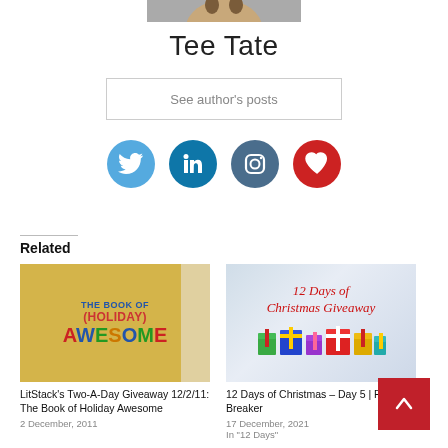[Figure (photo): Partial photo of person (Tee Tate), cropped at top edge]
Tee Tate
See author's posts
[Figure (infographic): Row of four social media icon circles: Twitter (light blue), LinkedIn (dark blue), Instagram (dark teal), Bloglovin/heart (red)]
Related
[Figure (photo): Book cover: THE BOOK OF (HOLIDAY) AWESOME in colorful text on yellow background]
LitStack's Two-A-Day Giveaway 12/2/11: The Book of Holiday Awesome
2 December, 2011
[Figure (photo): 12 Days of Christmas Giveaway banner with wrapped gift boxes on snowy background]
12 Days of Christmas – Day 5 | Realm Breaker
17 December, 2021
In "12 Days"